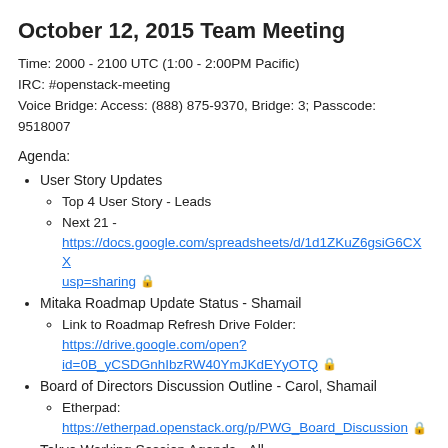October 12, 2015 Team Meeting
Time: 2000 - 2100 UTC (1:00 - 2:00PM Pacific)
IRC: #openstack-meeting
Voice Bridge: Access: (888) 875-9370, Bridge: 3; Passcode: 9518007
Agenda:
User Story Updates
Top 4 User Story - Leads
Next 21 - https://docs.google.com/spreadsheets/d/1d1ZKuZ6gsiG6CXX usp=sharing 🔒
Mitaka Roadmap Update Status - Shamail
Link to Roadmap Refresh Drive Folder: https://drive.google.com/open?id=0B_yCSDGnhIbzRW40YmJKdEYyOTQ 🔒
Board of Directors Discussion Outline - Carol, Shamail
Etherpad: https://etherpad.openstack.org/p/PWG_Board_Discussion 🔒
Tokyo Working Session Agenda - All